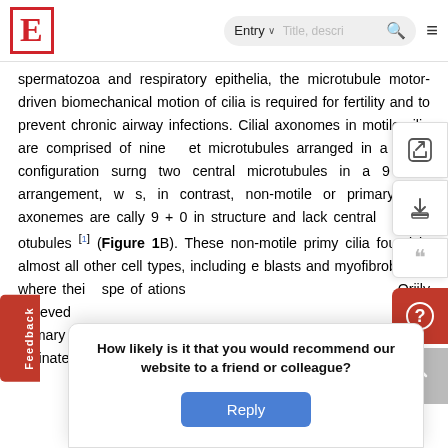E [logo] | Entry ˅ | Title, descri... 🔍 ≡
spermatozoa and respiratory epithelia, the microtubule motor-driven biomechanical motion of cilia is required for fertility and to prevent chronic airway infections. Cilial axonomes in motile cilia are comprised of nine outer doublet microtubules arranged in a radial configuration surrounding two central microtubules in a 9 + 2 arrangement, whereas, in contrast, non-motile or primary cilia axonemes are typically 9 + 0 in structure and lack central doublet microtubules [1] (Figure 1B). These non-motile primary cilia are found in almost all other cell types, including fibroblasts and myofibroblasts, where their specific functions are largely unknown. Originally believed ... primary ... that co-ordinate ... liferation.
How likely is it that you would recommend our website to a friend or colleague?
Reply